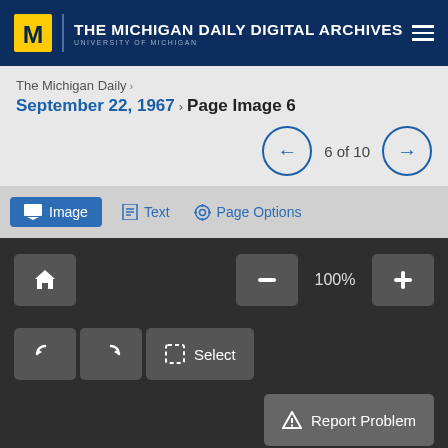THE MICHIGAN DAILY DIGITAL ARCHIVES UNIVERSITY OF MICHIGAN
The Michigan Daily ›
September 22, 1967 › Page Image 6
6 of 10
Image  Text  Page Options
[Figure (screenshot): Viewer toolbar with home button, zoom controls (−, 100%, +), rotate left/right buttons, Select button, and Report Problem button on dark background]